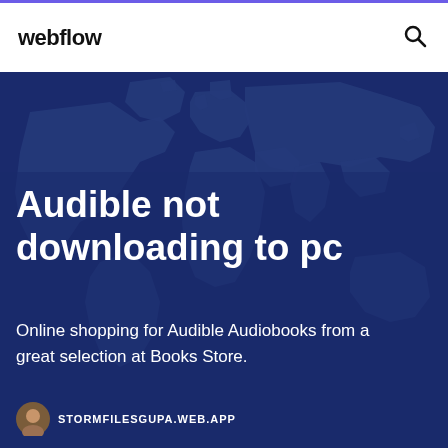webflow
[Figure (illustration): World map illustration in dark blue tones as hero background]
Audible not downloading to pc
Online shopping for Audible Audiobooks from a great selection at Books Store.
STORMFILESGUPA.WEB.APP